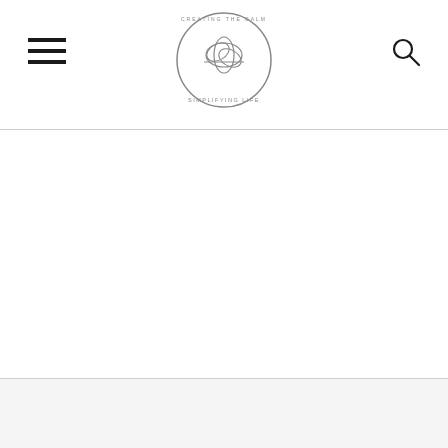Simplifying Life — navigation header with hamburger menu, circular logo, and search icon
"It will all shake out. Meanwhile, I'm putting up more twinkle lights."
[Figure (other): Advertisement area with close (×) button and partial image strip at bottom]